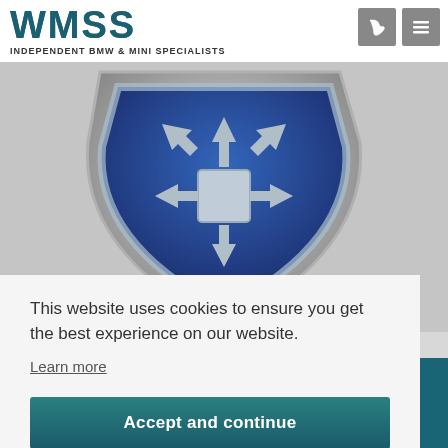[Figure (logo): WMSS logo with text INDEPENDENT BMW & MINI SPECIALISTS]
[Figure (illustration): Blue and silver shield emblem with arrows pointing inward toward a central square, 3D rendered]
Trust My Garage is an organisation made up of the best
This website uses cookies to ensure you get the best experience on our website.
Learn more
Accept and continue